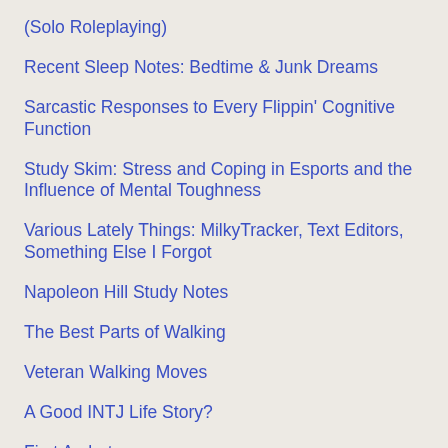(Solo Roleplaying)
Recent Sleep Notes: Bedtime & Junk Dreams
Sarcastic Responses to Every Flippin' Cognitive Function
Study Skim: Stress and Coping in Esports and the Influence of Mental Toughness
Various Lately Things: MilkyTracker, Text Editors, Something Else I Forgot
Napoleon Hill Study Notes
The Best Parts of Walking
Veteran Walking Moves
A Good INTJ Life Story?
First Archetypes